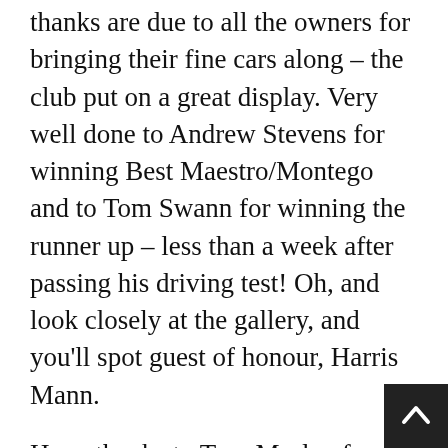thanks are due to all the owners for bringing their fine cars along – the club put on a great display. Very well done to Andrew Stevens for winning Best Maestro/Montego and to Tom Swann for winning the runner up – less than a week after passing his driving test! Oh, and look closely at the gallery, and you'll spot guest of honour, Harris Mann.
Huge thanks to Tom Morley for organising this rally. It is people like Tom giving us rallies such as this one who make owning our cars so rewarding.